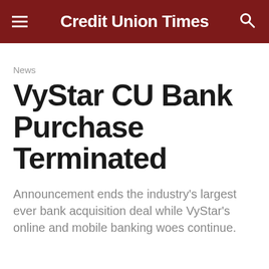Credit Union Times
News
VyStar CU Bank Purchase Terminated
Announcement ends the industry's largest ever bank acquisition deal while VyStar's online and mobile banking woes continue.